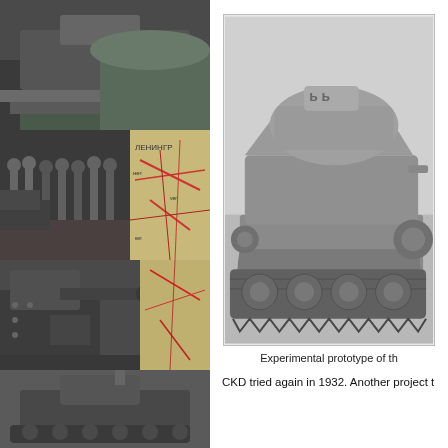[Figure (photo): Left column collage of black and white military/tank photographs including soldiers, tanks with cannons, and a colored map]
[Figure (photo): Black and white photograph of an experimental tank prototype, side view showing tracks, wheels, turret]
Experimental prototype of th
CKD tried again in 1932. Another project t